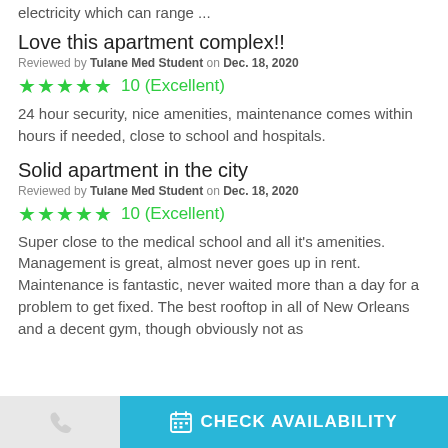electricity which can range ...
Love this apartment complex!!
Reviewed by Tulane Med Student on Dec. 18, 2020
★★★★★  10 (Excellent)
24 hour security, nice amenities, maintenance comes within hours if needed, close to school and hospitals.
Solid apartment in the city
Reviewed by Tulane Med Student on Dec. 18, 2020
★★★★★  10 (Excellent)
Super close to the medical school and all it's amenities. Management is great, almost never goes up in rent. Maintenance is fantastic, never waited more than a day for a problem to get fixed. The best rooftop in all of New Orleans and a decent gym, though obviously not as
CHECK AVAILABILITY